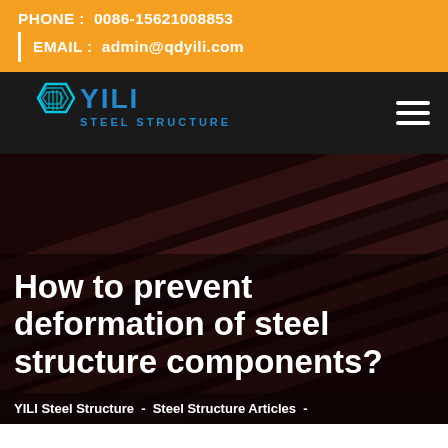PHONE :  0086-15621008853  EMAIL :  admin@qdyili.com
[Figure (logo): YILI Steel Structure logo with hexagonal building icon in blue/cyan on dark background, with company name YILI STEEL STRUCTURE]
[Figure (photo): Dark background photo showing steel structure beams/components arranged diagonally]
How to prevent deformation of steel structure components?
YILI Steel Structure  -  Steel Structure Articles  -